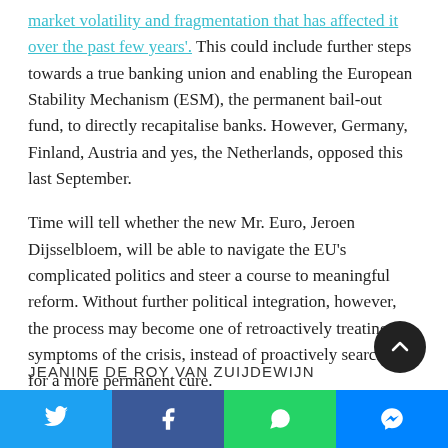market volatility and fragmentation that has affected it over the past few years'. This could include further steps towards a true banking union and enabling the European Stability Mechanism (ESM), the permanent bail-out fund, to directly recapitalise banks. However, Germany, Finland, Austria and yes, the Netherlands, opposed this last September.
Time will tell whether the new Mr. Euro, Jeroen Dijsselbloem, will be able to navigate the EU's complicated politics and steer a course to meaningful reform. Without further political integration, however, the process may become one of retroactively treating the symptoms of the crisis, instead of proactively searching for a more permanent cure.
JEANINE DE ROY VAN ZUIJDEWIJN